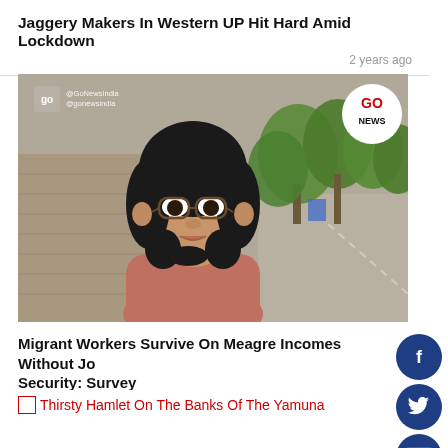Jaggery Makers In Western UP Hit Hard Amid Lockdown
2 years ago
[Figure (photo): Video thumbnail showing a young woman with glasses speaking outdoors near a tree-lined road, with GO NEWS logo in top-right corner and social media watermark text in top-left.]
Migrant Workers Survive On Meagre Incomes Without Job Security: Survey
2 years
Thirsty Hamlet On The Banks Of The Yamuna